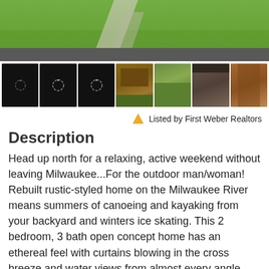[Figure (photo): Main property photo showing green lawn and stone pathway]
[Figure (photo): Row of thumbnail photos showing the property from various angles - three dark loading thumbnails and four property photos]
Listed by First Weber Realtors
Description
Head up north for a relaxing, active weekend without leaving Milwaukee...For the outdoor man/woman! Rebuilt rustic-styled home on the Milwaukee River means summers of canoeing and kayaking from your backyard and winters ice skating. This 2 bedroom, 3 bath open concept home has an ethereal feel with curtains blowing in the cross breeze and water views from almost every angle. Primary bedroom suite includes bath, sitting area, and kitchenette, with balcony overlooking the river. Second floor currently rented as an Air B&B; convert it to an owner's suite or utilize the second bedroom on the main floor with a walk in closet and full bath off the main living area. Enjoy outdoor living in your private escape from the